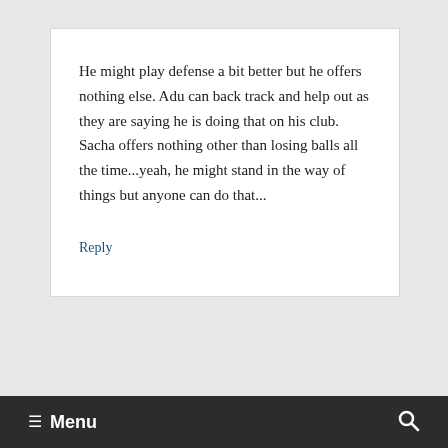He might play defense a bit better but he offers nothing else. Adu can back track and help out as they are saying he is doing that on his club. Sacha offers nothing other than losing balls all the time...yeah, he might stand in the way of things but anyone can do that...
Reply
≡ Menu